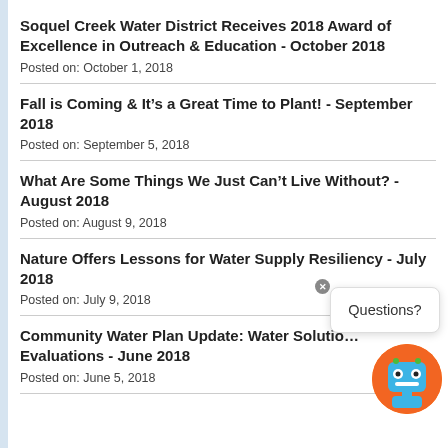Soquel Creek Water District Receives 2018 Award of Excellence in Outreach & Education - October 2018
Posted on: October 1, 2018
Fall is Coming & It’s a Great Time to Plant! - September 2018
Posted on: September 5, 2018
What Are Some Things We Just Can’t Live Without? - August 2018
Posted on: August 9, 2018
Nature Offers Lessons for Water Supply Resiliency - July 2018
Posted on: July 9, 2018
Community Water Plan Update: Water Solution Evaluations - June 2018
Posted on: June 5, 2018